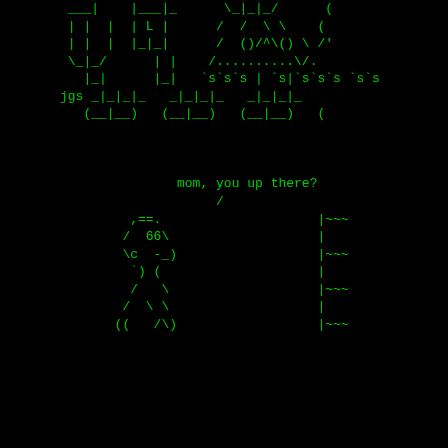[Figure (illustration): ASCII art on black background with green monospace text. Top portion shows repeating ASCII art robot/furniture legs pattern with characters like |_|_|_ and (__|__). Bottom portion shows ASCII art of a small figure (child or cat) looking up, with text 'mom, you up there?' and a ladder on the right side. Artist signature 'jgs' visible.]